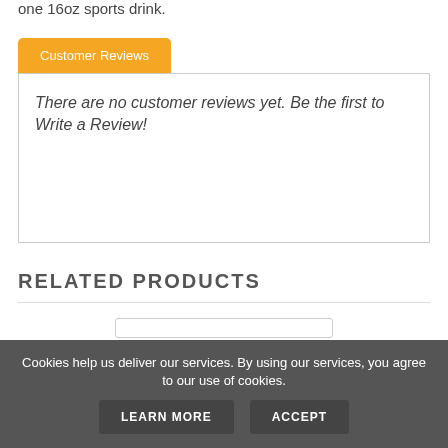one 16oz sports drink.
Customer Reviews
There are no customer reviews yet. Be the first to Write a Review!
RELATED PRODUCTS
[Figure (photo): Product card showing two dark cans]
Cookies help us deliver our services. By using our services, you agree to our use of cookies.
LEARN MORE   ACCEPT